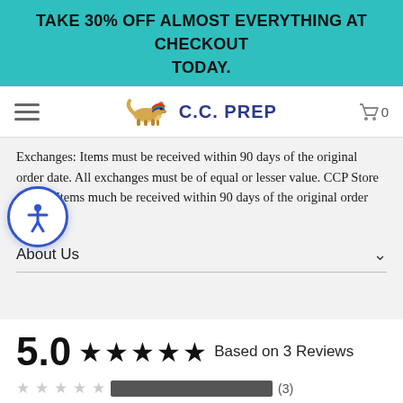TAKE 30% OFF ALMOST EVERYTHING AT CHECKOUT TODAY.
[Figure (logo): C.C. PREP store logo with running fox/dog and colorful scarf, navigation bar with hamburger menu and cart icon showing 0 items]
Exchanges: Items must be received within 90 days of the original order date. All exchanges must be of equal or lesser value. CCP Store Credit: Items much be received within 90 days of the original order date.
About Us
5.0 ★★★★★ Based on 3 Reviews
[Figure (other): Mini star rating row with gray stars and dark bar for 5-star reviews, showing (3) count]